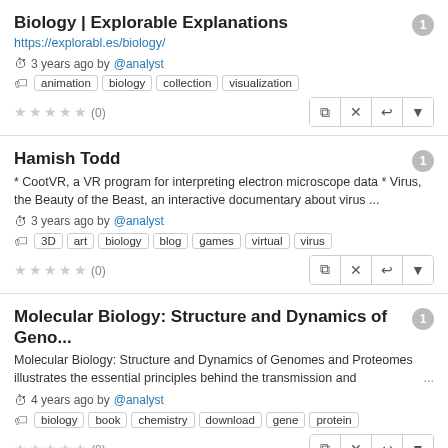Biology | Explorable Explanations
https://explorabl.es/biology/
3 years ago by @analyst
animation  biology  collection  visualization
★★★★★ (0)
Hamish Todd
* CootVR, a VR program for interpreting electron microscope data * Virus, the Beauty of the Beast, an interactive documentary about virus ...
3 years ago by @analyst
3D  art  biology  blog  games  virtual  virus
★★★★★ (0)
Molecular Biology: Structure and Dynamics of Geno...
Molecular Biology: Structure and Dynamics of Genomes and Proteomes illustrates the essential principles behind the transmission and
4 years ago by @analyst
biology  book  chemistry  download  gene  protein
★★★★★ (0)